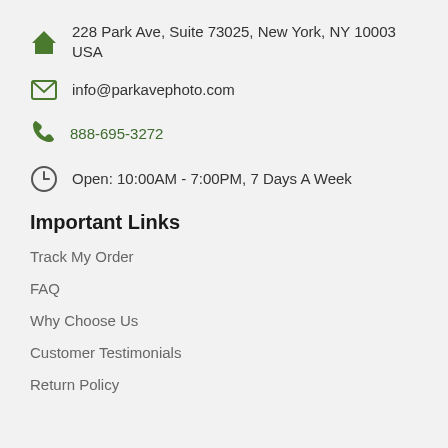228 Park Ave, Suite 73025, New York, NY 10003 USA
info@parkavephoto.com
888-695-3272
Open: 10:00AM - 7:00PM, 7 Days A Week
Important Links
Track My Order
FAQ
Why Choose Us
Customer Testimonials
Return Policy